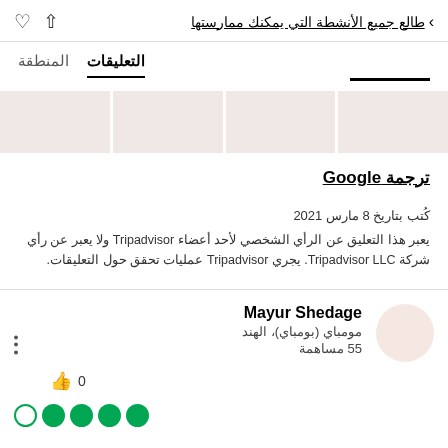طالع جميع الأنشطة التي يمكنك ممارستها
التعليقات   المنطقة
[Figure (photo): Four thumbnail images in a row with light pinkish-beige background]
ترجمة Google
كُتب بتاريخ 8 مارس 2021
يعبر هذا التعليق عن الرأي الشخصي لأحد أعضاء Tripadvisor ولا يعبر عن رأي شركة Tripadvisor LLC. يجري Tripadvisor عمليات تحقق حول التعليقات.
Mayur Shedage
مومباي (بومباي)، الهند
55 مساهمة